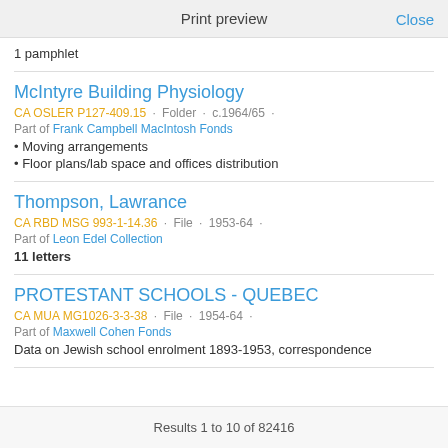Print preview
1 pamphlet
McIntyre Building Physiology
CA OSLER P127-409.15 · Folder · c.1964/65 ·
Part of Frank Campbell MacIntosh Fonds
• Moving arrangements
• Floor plans/lab space and offices distribution
Thompson, Lawrance
CA RBD MSG 993-1-14.36 · File · 1953-64 ·
Part of Leon Edel Collection
11 letters
PROTESTANT SCHOOLS - QUEBEC
CA MUA MG1026-3-3-38 · File · 1954-64 ·
Part of Maxwell Cohen Fonds
Data on Jewish school enrolment 1893-1953, correspondence
Results 1 to 10 of 82416